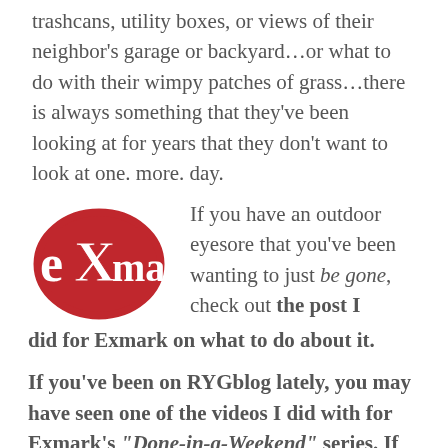trashcans, utility boxes, or views of their neighbor's garage or backyard…or what to do with their wimpy patches of grass…there is always something that they've been looking at for years that they don't want to look at one. more. day.
[Figure (logo): Exmark logo — red circle with white 'eXmark.' text in bold serif/display font]
If you have an outdoor eyesore that you've been wanting to just be gone, check out the post I did for Exmark on what to do about it.
If you've been on RYGblog lately, you may have seen one of the videos I did with for Exmark's "Done-in-a-Weekend" series. If not or if you've never heard of Exmark, they are the Grand Poobah of mower manufacturers. They've historically lived in the